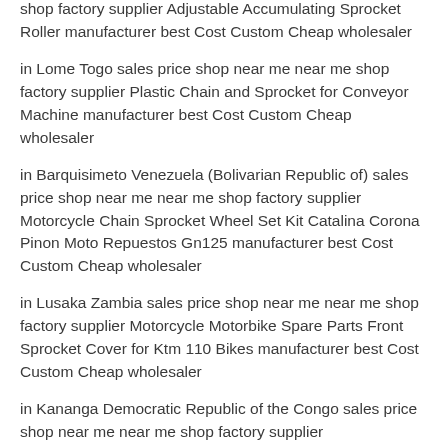shop factory supplier Adjustable Accumulating Sprocket Roller manufacturer best Cost Custom Cheap wholesaler
in Lome Togo sales price shop near me near me shop factory supplier Plastic Chain and Sprocket for Conveyor Machine manufacturer best Cost Custom Cheap wholesaler
in Barquisimeto Venezuela (Bolivarian Republic of) sales price shop near me near me shop factory supplier Motorcycle Chain Sprocket Wheel Set Kit Catalina Corona Pinon Moto Repuestos Gn125 manufacturer best Cost Custom Cheap wholesaler
in Lusaka Zambia sales price shop near me near me shop factory supplier Motorcycle Motorbike Spare Parts Front Sprocket Cover for Ktm 110 Bikes manufacturer best Cost Custom Cheap wholesaler
in Kananga Democratic Republic of the Congo sales price shop near me near me shop factory supplier…